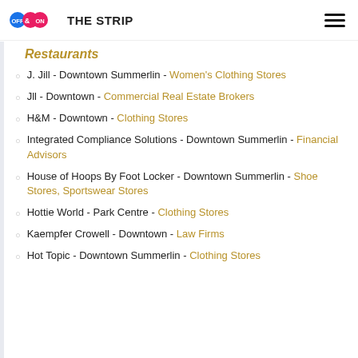OFF & ON THE STRIP
Restaurants
J. Jill - Downtown Summerlin - Women's Clothing Stores
Jll - Downtown - Commercial Real Estate Brokers
H&M - Downtown - Clothing Stores
Integrated Compliance Solutions - Downtown Summerlin - Financial Advisors
House of Hoops By Foot Locker - Downtown Summerlin - Shoe Stores, Sportswear Stores
Hottie World - Park Centre - Clothing Stores
Kaempfer Crowell - Downtown - Law Firms
Hot Topic - Downtown Summerlin - Clothing Stores